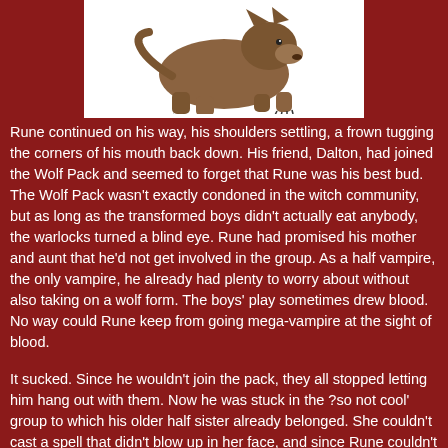[Figure (illustration): A cartoon illustration of a brown werewolf or wolf-creature crouching on all fours on a white background, viewed from behind/side angle showing clawed feet and hunched posture.]
Rune continued on his way, his shoulders settling, a frown tugging the corners of his mouth back down. His friend, Dalton, had joined the Wolf Pack and seemed to forget that Rune was his best bud. The Wolf Pack wasn't exactly condoned in the witch community, but as long as the transformed boys didn't actually eat anybody, the warlocks turned a blind eye. Rune had promised his mother and aunt that he'd not get involved in the group. As a half vampire, the only vampire, he already had plenty to worry about without also taking on a wolf form. The boys' play sometimes drew blood. No way could Rune keep from going mega-vampire at the sight of blood.
It sucked. Since he wouldn't join the pack, they all stopped letting him hang out with them. Now he was stuck in the ?so not cool' group to which his older half sister already belonged. She couldn't cast a spell that didn't blow up in her face, and since Rune couldn't join the other boys in the Pack, he felt like an outcast. His mind pinged, and the word